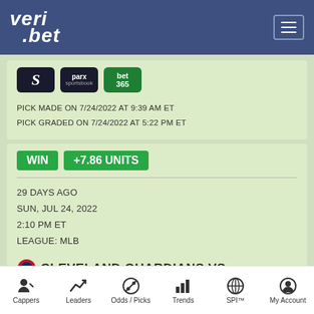[Figure (logo): veri.bet logo in white italic text on dark blue header background]
PICK MADE ON 7/24/2022 AT 9:39 AM ET
PICK GRADED ON 7/24/2022 AT 5:22 PM ET
WIN +7.86 UNITS
29 DAYS AGO
SUN, JUL 24, 2022
2:10 PM ET
LEAGUE: MLB
CLEVELAND GUARDIANS VS
Cappers  Leaders  Odds / Picks  Trends  SPI™  My Account